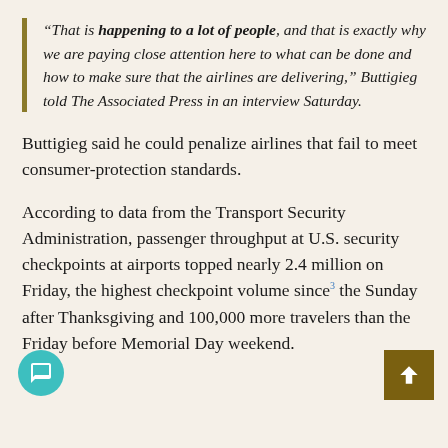“That is happening to a lot of people, and that is exactly why we are paying close attention here to what can be done and how to make sure that the airlines are delivering,” Buttigieg told The Associated Press in an interview Saturday.
Buttigieg said he could penalize airlines that fail to meet consumer-protection standards.
According to data from the Transport Security Administration, passenger throughput at U.S. security checkpoints at airports topped nearly 2.4 million on Friday, the highest checkpoint volume since the Sunday after Thanksgiving and 100,000 more travelers than the Friday before Memorial Day weekend.